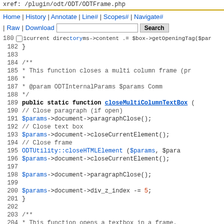xref: /plugin/odt/ODT/ODTFrame.php
Home | History | Annotate | Line# | Scopes# | Navigate# | Raw | Download   [Search]
current directory
[Figure (screenshot): PHP source code viewer showing lines 180-205 of ODTFrame.php with syntax highlighting. Contains closeMultiColumnTextBox function implementation.]